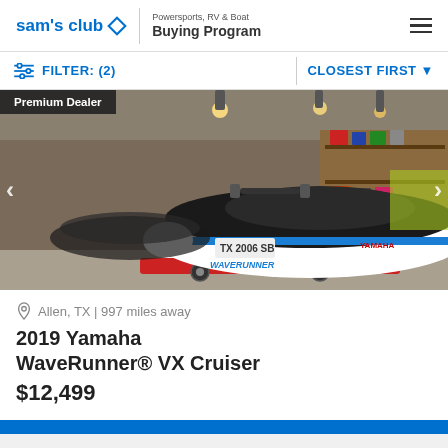sam's club | Powersports, RV & Boat Buying Program
FILTER: (2) | CLOSEST FIRST
[Figure (photo): Photo of a 2019 Yamaha WaveRunner VX Cruiser jet ski in a dealership showroom. The jet ski is white and black with blue accents and WAVERUNNER branding on the side. It sits on a red trailer with store merchandise visible in the background. Premium Dealer badge overlaid on top-left corner.]
Allen, TX | 997 miles away
2019 Yamaha WaveRunner® VX Cruiser
$12,499